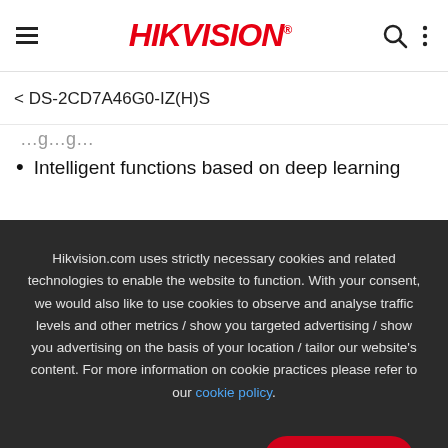HIKVISION®
< DS-2CD7A46G0-IZ(H)S
Intelligent functions based on deep learning
Hikvision.com uses strictly necessary cookies and related technologies to enable the website to function. With your consent, we would also like to use cookies to observe and analyse traffic levels and other metrics / show you targeted advertising / show you advertising on the basis of your location / tailor our website's content. For more information on cookie practices please refer to our cookie policy.
Manage cookies
Accept All